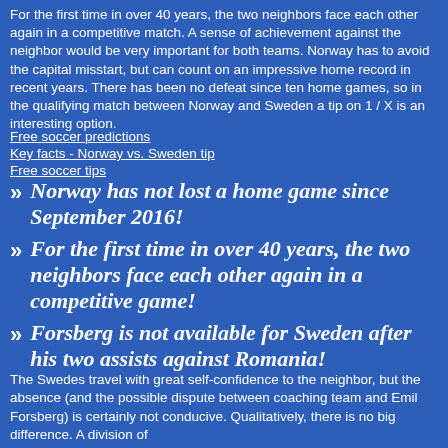For the first time in over 40 years, the two neighbors face each other again in a competitive match. A sense of achievement against the neighbor would be very important for both teams. Norway has to avoid the capital misstart, but can count on an impressive home record in recent years. There has been no defeat since ten home games, so in the qualifying match between Norway and Sweden a tip on 1 / X is an interesting option.
Free soccer predictions
Key facts - Norway vs. Sweden tip
Free soccer tips
Norway has not lost a home game since September 2016!
For the first time in over 40 years, the two neighbors face each other again in a competitive game!
Forsberg is not available for Sweden after his two assists against Romania!
The Swedes travel with great self-confidence to the neighbor, but the absence (and the possible dispute between coaching team and Emil Forsberg) is certainly not conducive. Qualitatively, there is no big difference. A division of